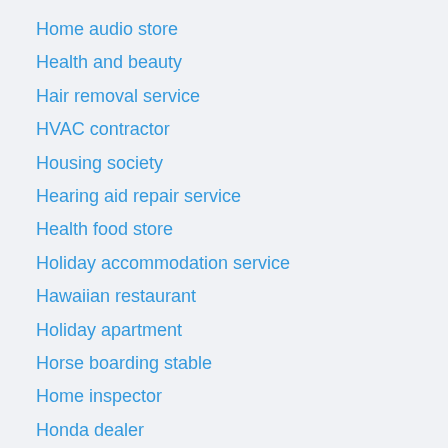Home audio store
Health and beauty
Hair removal service
HVAC contractor
Housing society
Hearing aid repair service
Health food store
Holiday accommodation service
Hawaiian restaurant
Holiday apartment
Horse boarding stable
Home inspector
Honda dealer